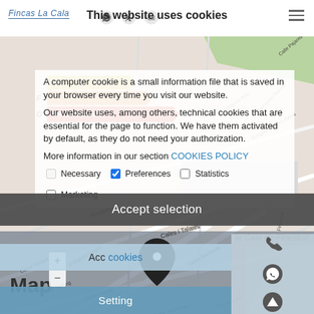Fincas La Cala [icons: WhatsApp, Twitter, YouTube] [hamburger menu]
This website uses cookies
A computer cookie is a small information file that is saved in your browser every time you visit our website.
Our website uses, among others, technical cookies that are essential for the page to function. We have them activated by default, as they do not need your authorization.
More information in our section COOKIES POLICY
Necessary  [checked] Preferences  Statistics  [checked] Marketing
Map
[Figure (map): Street map of la Cala de Finestrat area showing local streets including Carrer Llebeig, Avinguda Rosa dels Vents, Carrer Tramuntana, Carrer Xaloc, and surrounding areas with a location pin marker.]
Accept selection
la Cala de Finestrat
Accept cookies
Setting
[phone icon] [WhatsApp icon] [back-to-top icon]